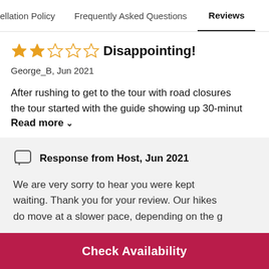ellation Policy   Frequently Asked Questions   Reviews
★★☆☆☆ Disappointing!
George_B, Jun 2021
After rushing to get to the tour with road closures the tour started with the guide showing up 30-minut
Read more ∨
Response from Host, Jun 2021
We are very sorry to hear you were kept waiting. Thank you for your review. Our hikes do move at a slower pace, depending on the g
Check Availability